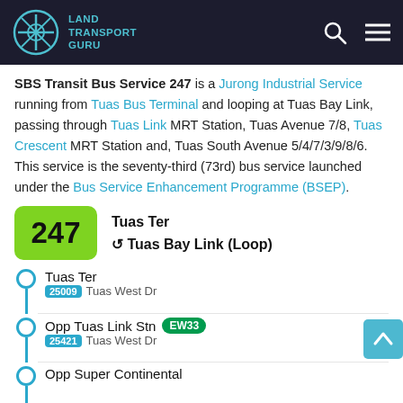Land Transport Guru
SBS Transit Bus Service 247 is a Jurong Industrial Service running from Tuas Bus Terminal and looping at Tuas Bay Link, passing through Tuas Link MRT Station, Tuas Avenue 7/8, Tuas Crescent MRT Station and, Tuas South Avenue 5/4/7/3/9/8/6. This service is the seventy-third (73rd) bus service launched under the Bus Service Enhancement Programme (BSEP).
247 Tuas Ter ↺ Tuas Bay Link (Loop)
Tuas Ter — 25009 Tuas West Dr
Opp Tuas Link Stn EW33 — 25421 Tuas West Dr
Opp Super Continental